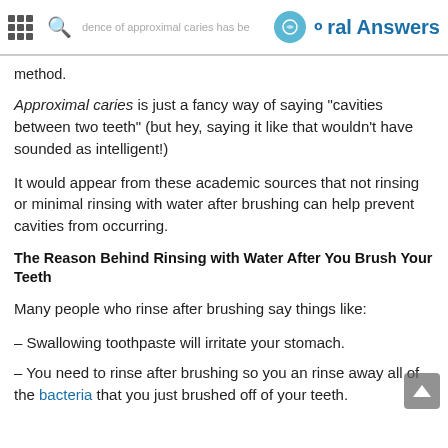reductions in caries are achievable. A 76% reduction in the incidence of approximal caries has been... | Oral Answers
method.
Approximal caries is just a fancy way of saying "cavities between two teeth" (but hey, saying it like that wouldn't have sounded as intelligent!)
It would appear from these academic sources that not rinsing or minimal rinsing with water after brushing can help prevent cavities from occurring.
The Reason Behind Rinsing with Water After You Brush Your Teeth
Many people who rinse after brushing say things like:
– Swallowing toothpaste will irritate your stomach.
– You need to rinse after brushing so you an rinse away all of the bacteria that you just brushed off of your teeth.